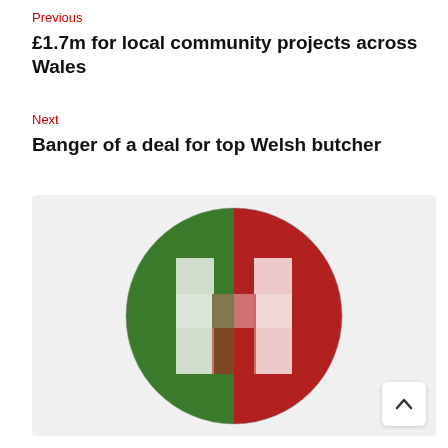Previous
£1.7m for local community projects across Wales
Next
Banger of a deal for top Welsh butcher
[Figure (logo): Circular logo with green and red background featuring a bold white letter H with red and green accents]